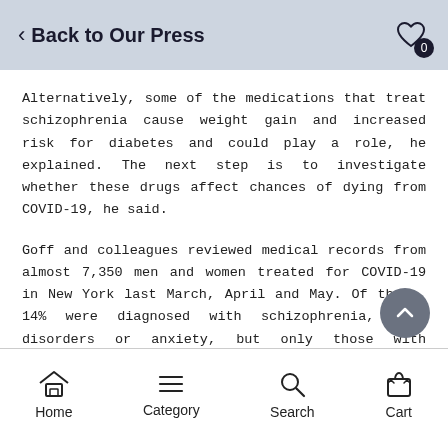Back to Our Press
Alternatively, some of the medications that treat schizophrenia cause weight gain and increased risk for diabetes and could play a role, he explained. The next step is to investigate whether these drugs affect chances of dying from COVID-19, he said.
Goff and colleagues reviewed medical records from almost 7,350 men and women treated for COVID-19 in New York last March, April and May. Of these, 14% were diagnosed with schizophrenia, mood disorders or anxiety, but only those with schizophrenia were more likely to die from COVID once infected.
Home  Category  Search  Cart